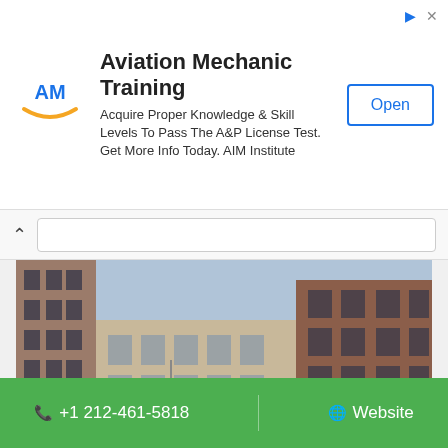[Figure (infographic): Aviation Mechanic Training advertisement banner with AIM Institute logo, text, and Open button]
[Figure (photo): Street-level photo of New Balance Flatiron store in New York City, a multi-story brick and stone building with red awnings, American flag, yellow taxi cab visible on the street]
New Balance Flatiron
+1 212-461-5818
Website